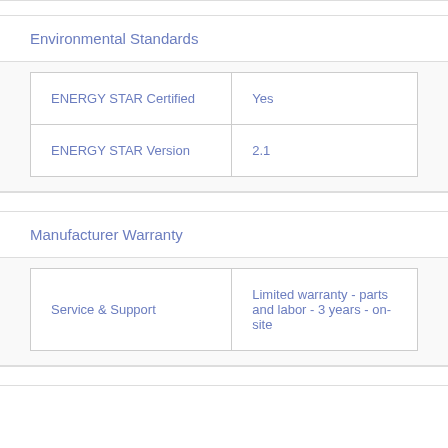Environmental Standards
| ENERGY STAR Certified | Yes |
| ENERGY STAR Version | 2.1 |
Manufacturer Warranty
| Service & Support | Limited warranty - parts and labor - 3 years - on-site |